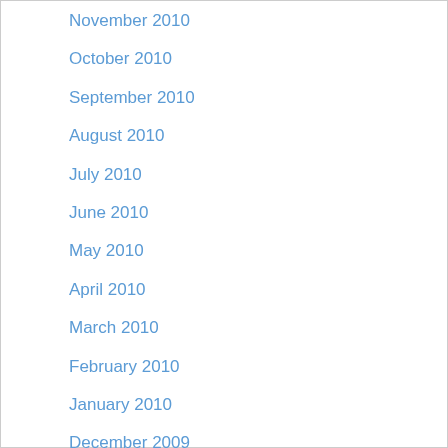November 2010
October 2010
September 2010
August 2010
July 2010
June 2010
May 2010
April 2010
March 2010
February 2010
January 2010
December 2009
October 2009